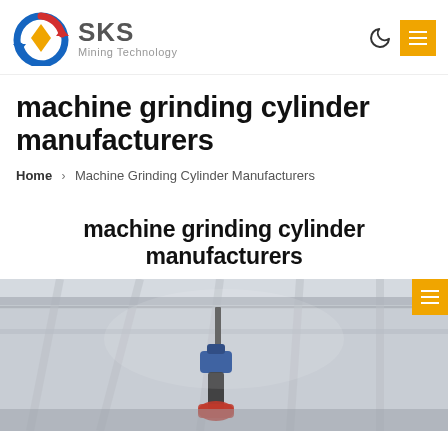SKS Mining Technology
machine grinding cylinder manufacturers
Home › Machine Grinding Cylinder Manufacturers
machine grinding cylinder manufacturers
[Figure (photo): Industrial factory scene showing a grinding cylinder or machinery component hanging from a crane/hoist in a large industrial building with ceiling trusses visible.]